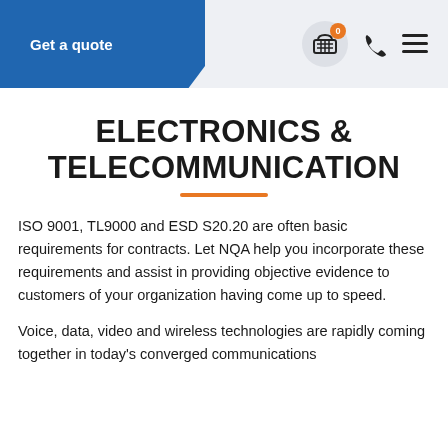Get a quote | 0 | [cart icon] [phone icon] [menu icon]
ELECTRONICS & TELECOMMUNICATION
ISO 9001, TL9000 and ESD S20.20 are often basic requirements for contracts. Let NQA help you incorporate these requirements and assist in providing objective evidence to customers of your organization having come up to speed.
Voice, data, video and wireless technologies are rapidly coming together in today's converged communications